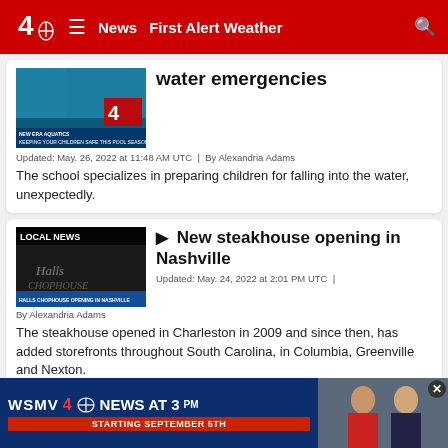4 NBC | ≡ | News | First Alert Weather | 🔍
[Figure (screenshot): Thumbnail image showing a child in water with text overlay 'KEEPING YOUR CHILDREN SAFE THIS POOL SEASON']
water emergencies
Updated: May. 26, 2022 at 11:48 AM UTC | By Alexandria Adams
The school specializes in preparing children for falling into the water, unexpectedly.
[Figure (screenshot): Thumbnail image showing LOCAL NEWS label and Halls Chophouse Nashville banner with text 'HALLS CHOPHOUSE OPENING IN NASHVILLE']
▶ New steakhouse opening in Nashville
Updated: May. 24, 2022 at 2:01 PM UTC |
By Alexandria Adams
The steakhouse opened in Charleston in 2009 and since then, has added storefronts throughout South Carolina, in Columbia, Greenville and Nexton.
[Figure (screenshot): Partial card with WSMV baby/LOCAL NEWS label thumbnail]
[Figure (advertisement): WSMV 4 NBC News at 3PM advertisement banner with two anchors, STARTING SEPTEMBER 5TH]